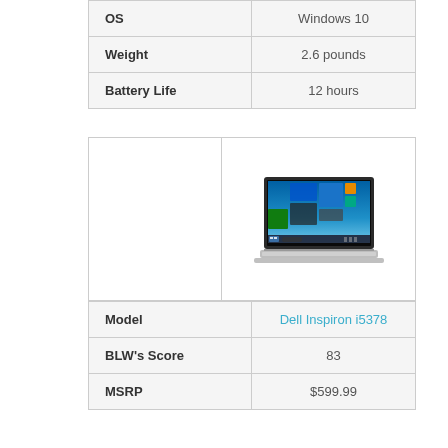| Attribute | Value |
| --- | --- |
| OS | Windows 10 |
| Weight | 2.6 pounds |
| Battery Life | 12 hours |
[Figure (photo): Dell Inspiron i5378 laptop computer showing Windows 10 desktop on screen, viewed from slight angle]
| Attribute | Value |
| --- | --- |
| Model | Dell Inspiron i5378 |
| BLW's Score | 83 |
| MSRP | $599.99 |